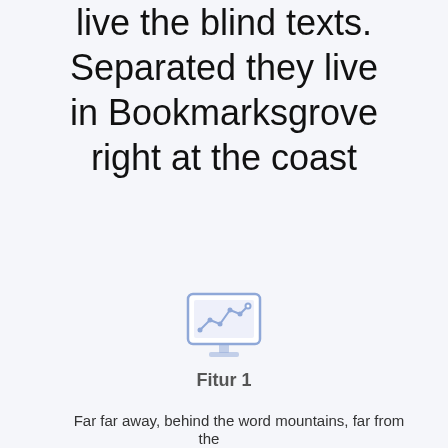Vokalia and Consonantia, there live the blind texts. Separated they live in Bookmarksgrove right at the coast
[Figure (illustration): A monitor/screen icon with a line chart drawn on it, rendered in blue outline style with small circular data points]
Fitur 1
Far far away, behind the word mountains, far from the